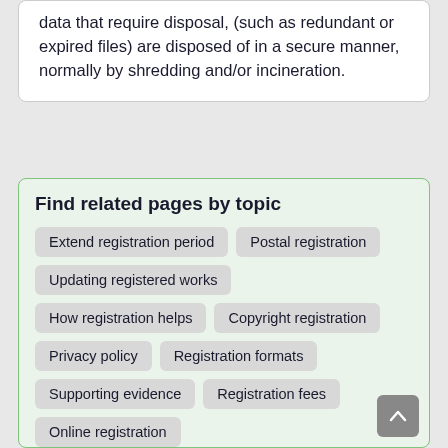data that require disposal, (such as redundant or expired files) are disposed of in a secure manner, normally by shredding and/or incineration.
Find related pages by topic
Extend registration period
Postal registration
Updating registered works
How registration helps
Copyright registration
Privacy policy
Registration formats
Supporting evidence
Registration fees
Online registration